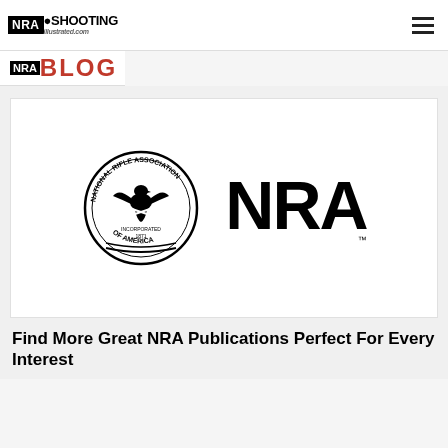NRA Shooting Illustrated .com
[Figure (logo): NRA Blog logo — black NRA prefix box and red BLOG text]
[Figure (logo): NRA official seal/crest logo alongside large NRA wordmark with TM symbol]
Find More Great NRA Publications Perfect For Every Interest